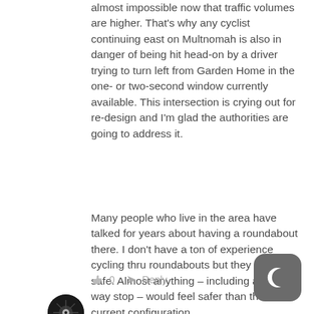almost impossible now that traffic volumes are higher. That's why any cyclist continuing east on Multnomah is also in danger of being hit head-on by a driver trying to turn left from Garden Home in the one- or two-second window currently available. This intersection is crying out for re-design and I'm glad the authorities are going to address it.
Many people who live in the area have talked for years about having a roundabout there. I don't have a ton of experience cycling thru roundabouts but they seem safe. Almost anything – including a three-way stop – would feel safer than the current configuration.
👍 0   ➤ Reply
[Figure (illustration): User avatar: small circular profile photo with dark background and spider/insect icon]
[Figure (logo): Moon/crescent app icon in rounded square, dark gray background]